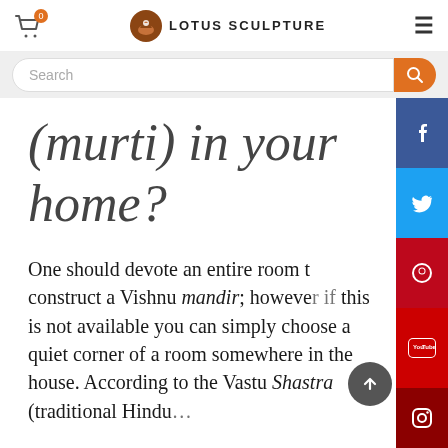Lotus Sculpture — website header with cart, logo, and menu
Search
(murti) in your home?
One should devote an entire room to construct a Vishnu mandir; however if this is not available you can simply choose a quiet corner of a room somewhere in the house. According to the Vastu Shastra (traditional Hindu...